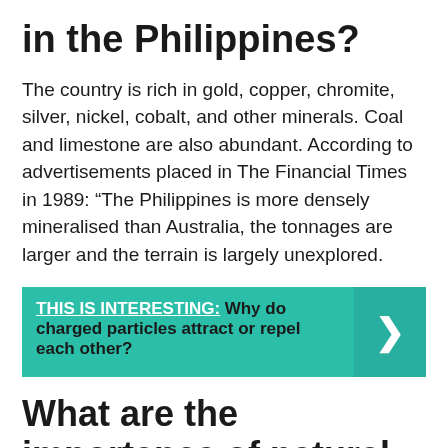in the Philippines?
The country is rich in gold, copper, chromite, silver, nickel, cobalt, and other minerals. Coal and limestone are also abundant. According to advertisements placed in The Financial Times in 1989: “The Philippines is more densely mineralised than Australia, the tonnages are larger and the terrain is largely unexplored.
THIS IS INTERESTING:  Why do charged particles attract or repel each other?
What are the importance of natural resources?